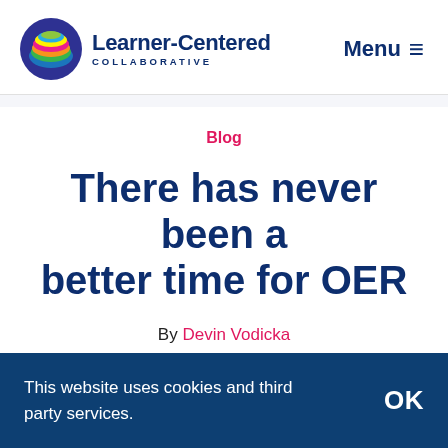Learner-Centered COLLABORATIVE  Menu
Blog
There has never been a better time for OER
By Devin Vodicka
This website uses cookies and third party services.
OK